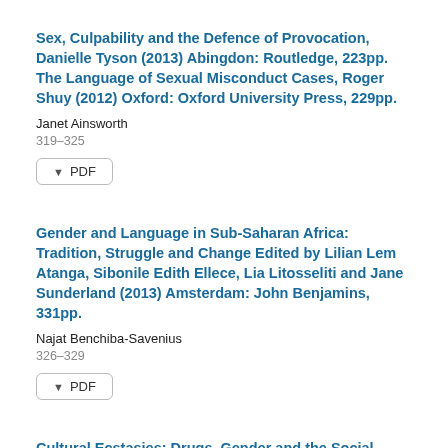Sex, Culpability and the Defence of Provocation, Danielle Tyson (2013) Abingdon: Routledge, 223pp. The Language of Sexual Misconduct Cases, Roger Shuy (2012) Oxford: Oxford University Press, 229pp.
Janet Ainsworth
319–325
[Figure (other): PDF download button]
Gender and Language in Sub-Saharan Africa: Tradition, Struggle and Change Edited by Lilian Lem Atanga, Sibonile Edith Ellece, Lia Litosseliti and Jane Sunderland (2013) Amsterdam: John Benjamins, 331pp.
Najat Benchiba-Savenius
326–329
[Figure (other): PDF download button]
Cultural Ecstasies: Drugs, Gender and the Social Imaginary, Ilana Mountian (2013) Abingdon: Routledge, 168pp.